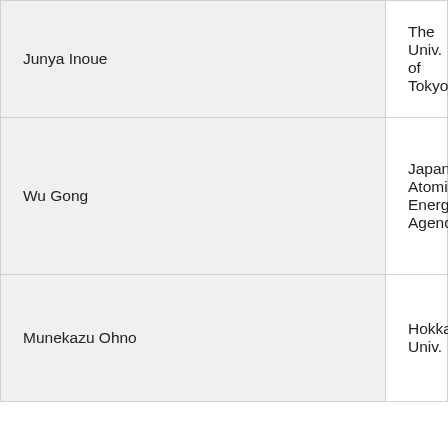| Name | Affiliation |
| --- | --- |
| Junya Inoue | The Univ. of Tokyo |
| Wu Gong | Japan Atomic Energy Agency |
| Munekazu Ohno | Hokkaido Univ. |
Symposium2
Mechanical properties (Chair: Toshihiro Tsuo
Keynote Speakers
| Name | Affiliation |
| --- | --- |
| Heung Nam Han | Seoul National Univ. |
| Nobuhiro Tsuji | Kyoto Univ. |